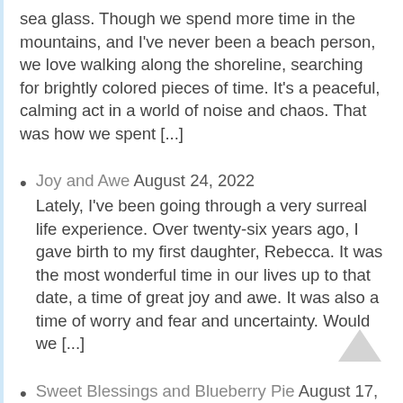sea glass. Though we spend more time in the mountains, and I've never been a beach person, we love walking along the shoreline, searching for brightly colored pieces of time. It's a peaceful, calming act in a world of noise and chaos. That was how we spent [...]
Joy and Awe August 24, 2022
Lately, I've been going through a very surreal life experience. Over twenty-six years ago, I gave birth to my first daughter, Rebecca. It was the most wonderful time in our lives up to that date, a time of great joy and awe. It was also a time of worry and fear and uncertainty. Would we [...]
Sweet Blessings and Blueberry Pie August 17, 2022
Have you ever experienced a time when something unexpected happened that threw